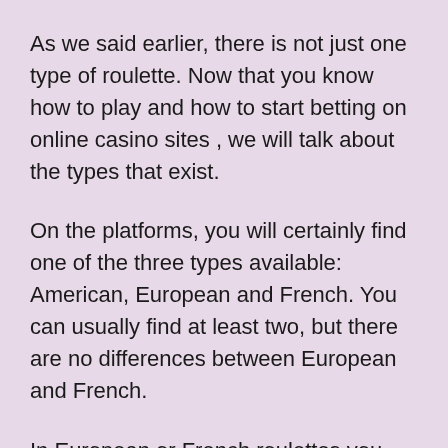As we said earlier, there is not just one type of roulette. Now that you know how to play and how to start betting on online casino sites , we will talk about the types that exist.
On the platforms, you will certainly find one of the three types available: American, European and French. You can usually find at least two, but there are no differences between European and French.
In European or French roulettes you will find numbers from zero to 36. They are usually